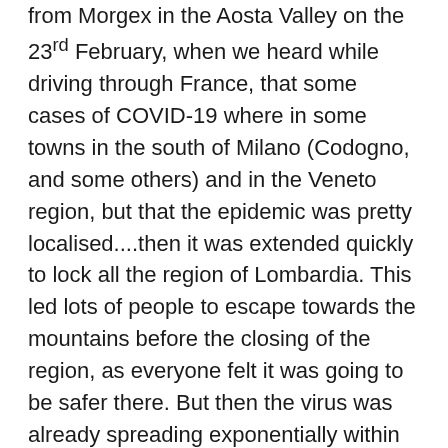from Morgex in the Aosta Valley on the 23rd February, when we heard while driving through France, that some cases of COVID-19 where in some towns in the south of Milano (Codogno, and some others) and in the Veneto region, but that the epidemic was pretty localised....then it was extended quickly to lock all the region of Lombardia. This led lots of people to escape towards the mountains before the closing of the region, as everyone felt it was going to be safer there. But then the virus was already spreading exponentially within the community when many of those that came to the mountain resorts, continue in holiday mode, piling in queues by the lifts. When at first I've thought of COVID19, I was thinking, people are well wrapped out, they have ski gloves or mittens, goggles, they are pretty safe...maybe ride a cabin only with your family group or whoever you are skiing with, and ride more chairlifts, and you would be fine... maybe lunches in a small cabin would not be a great idea, even though I love having lunch during my ski